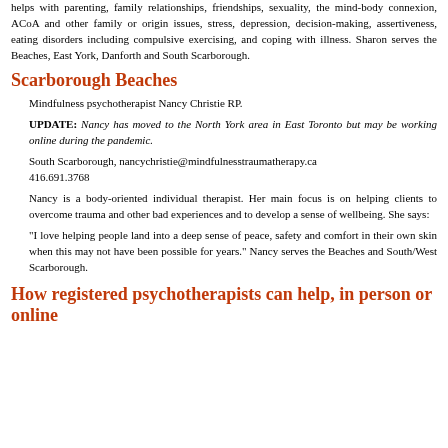helps with parenting, family relationships, friendships, sexuality, the mind-body connexion, ACoA and other family or origin issues, stress, depression, decision-making, assertiveness, eating disorders including compulsive exercising, and coping with illness. Sharon serves the Beaches, East York, Danforth and South Scarborough.
Scarborough Beaches
Mindfulness psychotherapist Nancy Christie RP.
UPDATE: Nancy has moved to the North York area in East Toronto but may be working online during the pandemic.
South Scarborough, nancychristie@mindfulnesstraumatherapy.ca 416.691.3768
Nancy is a body-oriented individual therapist. Her main focus is on helping clients to overcome trauma and other bad experiences and to develop a sense of wellbeing. She says:
"I love helping people land into a deep sense of peace, safety and comfort in their own skin when this may not have been possible for years." Nancy serves the Beaches and South/West Scarborough.
How registered psychotherapists can help, in person or online